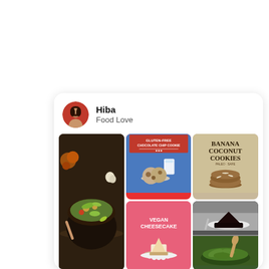[Figure (screenshot): Pinterest-style food board card for user 'Hiba' with board name 'Food Love'. Contains a profile avatar (woman with dark hair on red background), the name 'Hiba', subtitle 'Food Love', and a 3-column grid of food photos: a Mexican food bowl, gluten-free chocolate chip cookie blog post image, banana coconut cookies book cover, autumn oatmeal/grain dish, vegan cheesecake pink card, dark chocolate cake, and a greens/vegetable dish.]